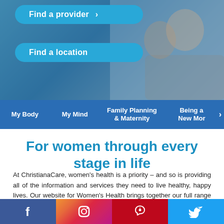[Figure (photo): Hero image with two people embracing and laughing, with blue overlay and two call-to-action buttons: Find a provider and Find a location]
My Body | My Mind | Family Planning & Maternity | Being a New Mom
For women through every stage in life
At ChristianaCare, women's health is a priority – and so is providing all of the information and services they need to live healthy, happy lives. Our website for Women's Health brings together our full range of integrated, high-quality health services in one place to help women get the care they need at every stage of their life.
[Figure (infographic): Social media bar with Facebook, Instagram, Pinterest, and Twitter icons]